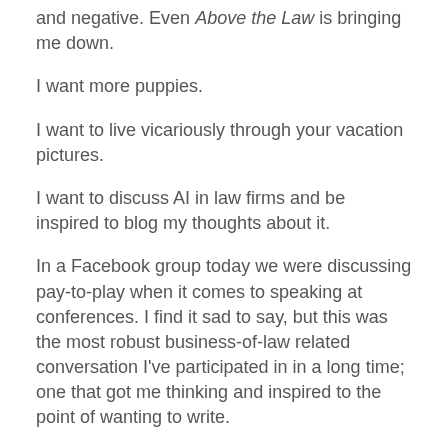and negative. Even Above the Law is bringing me down.
I want more puppies.
I want to live vicariously through your vacation pictures.
I want to discuss AI in law firms and be inspired to blog my thoughts about it.
In a Facebook group today we were discussing pay-to-play when it comes to speaking at conferences. I find it sad to say, but this was the most robust business-of-law related conversation I've participated in in a long time; one that got me thinking and inspired to the point of wanting to write.